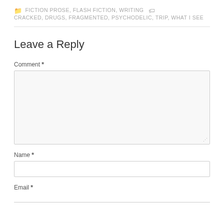FICTION PROSE, FLASH FICTION, WRITING   CRACKED, DRUGS, FRAGMENTED, PSYCHODELIC, TRIP, WHAT I SEE
Leave a Reply
Comment *
Name *
Email *